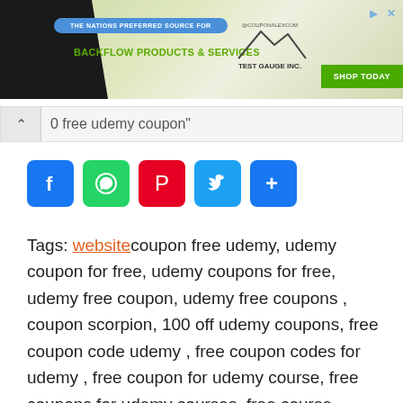[Figure (screenshot): Advertisement banner for Test Gauge Inc. - Backflow Products & Services with Shop Today button]
0 free udemy coupon"
[Figure (infographic): Social sharing icons: Facebook, WhatsApp, Pinterest, Twitter, Share]
Tags: website coupon free udemy, udemy coupon for free, udemy coupons for free, udemy free coupon, udemy free coupons , coupon scorpion, 100 off udemy coupons, free coupon code udemy , free coupon codes for udemy , free coupon for udemy course, free coupons for udemy courses, free course coupon udemy, free udemy course coupon, free udemy courses coupon, free udemy courses coupons, udemy 100 off coupon, udemy coupon 100 off, udemy coupons 100 off, udemy courses free coupon, udemy free course coupons, udemy free courses coupon